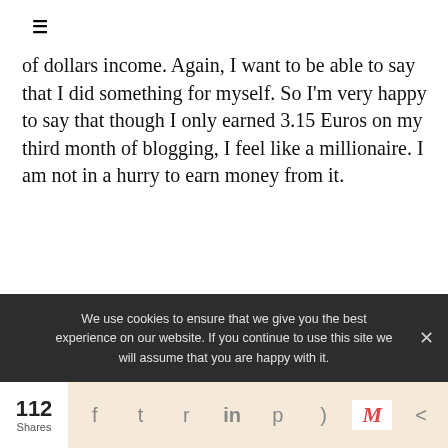of dollars income. Again, I want to be able to say that I did something for myself. So I'm very happy to say that though I only earned 3.15 Euros on my third month of blogging, I feel like a millionaire. I am not in a hurry to earn money from it.
To have a creative outlet for a hobby is more than okay and to be paid just one cent for doing it, I will be ecstatic!
We use cookies to ensure that we give you the best experience on our website. If you continue to use this site we will assume that you are happy with it.
112 Shares [social share bar]